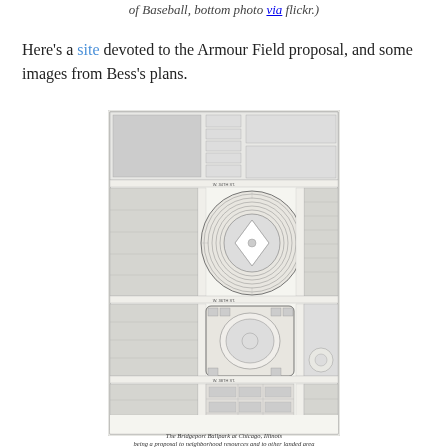of Baseball, bottom photo via flickr.)
Here's a site devoted to the Armour Field proposal, and some images from Bess's plans.
[Figure (engineering-diagram): Architectural site plan / blueprint of the Bridgeport Ballpark in Chicago, Illinois — Armour Field proposal by Bess. Shows overhead view of a baseball stadium with surrounding streets, an arena/court below, parking areas, and city blocks. Black and white line drawing with detailed seating tiers and street grid.]
The Bridgeport Ballpark at Chicago, Illinois
being a proposal to neighborhood resources and to other landed area
Armour fields at Comiskey Park